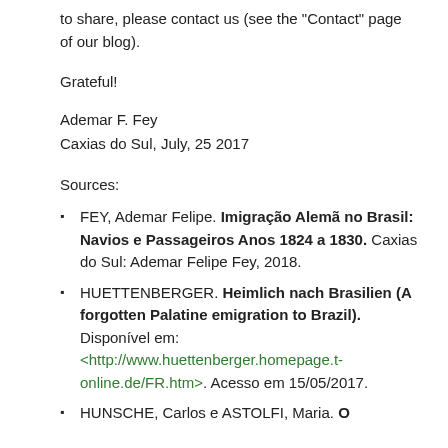to share, please contact us (see the "Contact" page of our blog).
Grateful!
Ademar F. Fey
Caxias do Sul, July, 25 2017
Sources:
FEY, Ademar Felipe. Imigração Alemã no Brasil: Navios e Passageiros Anos 1824 a 1830. Caxias do Sul: Ademar Felipe Fey, 2018.
HUETTENBERGER. Heimlich nach Brasilien (A forgotten Palatine emigration to Brazil). Disponível em: <http://www.huettenberger.homepage.t-online.de/FR.htm&gt;. Acesso em 15/05/2017.
HUNSCHE, Carlos e ASTOLFI, Maria. O